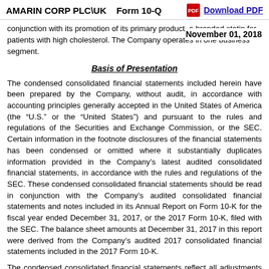AMARIN CORP PLC\UK   Form 10-Q   Download PDF
conjunction with its promotion of its primary product, a branded statin for patients with high cholesterol. The Company operates in one business segment.    November 01, 2018
Basis of Presentation
The condensed consolidated financial statements included herein have been prepared by the Company, without audit, in accordance with accounting principles generally accepted in the United States of America (the “U.S.” or the “United States”) and pursuant to the rules and regulations of the Securities and Exchange Commission, or the SEC. Certain information in the footnote disclosures of the financial statements has been condensed or omitted where it substantially duplicates information provided in the Company’s latest audited consolidated financial statements, in accordance with the rules and regulations of the SEC. These condensed consolidated financial statements should be read in conjunction with the Company’s audited consolidated financial statements and notes included in its Annual Report on Form 10-K for the fiscal year ended December 31, 2017, or the 2017 Form 10-K, filed with the SEC. The balance sheet amounts at December 31, 2017 in this report were derived from the Company’s audited 2017 consolidated financial statements included in the 2017 Form 10-K.
The condensed consolidated financial statements reflect all adjustments of a normal and recurring nature that, in the opinion of management, are necessary to present fairly the Company’s financial position, results of operations and cash flows for the periods indicated. The preparation of the Company’s condensed consolidated financial statements in conformity with U.S. Generally